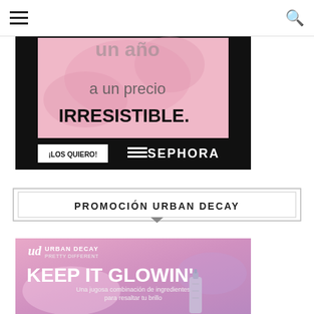Navigation bar with hamburger menu and search icon
[Figure (illustration): Sephora advertisement banner in Spanish: 'a un precio IRRESISTIBLE.' with pink background, black borders, '¡LOS QUIERO!' button, and SEPHORA logo]
PROMOCIÓN URBAN DECAY
[Figure (illustration): Urban Decay 'KEEP IT GLOWIN' advertisement with pink/purple gradient background, Urban Decay logo, product bottle, text 'Una jugosa combinación de ingredientes para resaltar tu brillo']